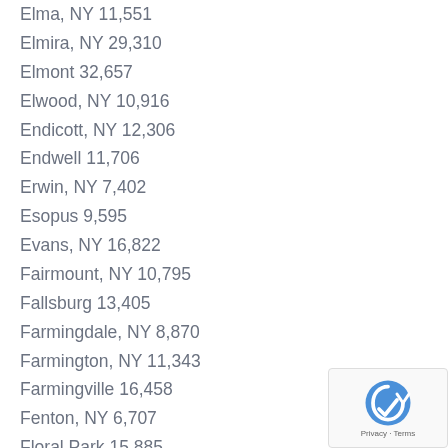Elma, NY 11,551
Elmira, NY 29,310
Elmont 32,657
Elwood, NY 10,916
Endicott, NY 12,306
Endwell 11,706
Erwin, NY 7,402
Esopus 9,595
Evans, NY 16,822
Fairmount, NY 10,795
Fallsburg 13,405
Farmingdale, NY 8,870
Farmington, NY 11,343
Farmingville 16,458
Fenton, NY 6,707
Floral Park 15,885
Fort Drum 12,123
Fort Salonga 9,634
[Figure (logo): reCAPTCHA badge with Privacy and Terms text]